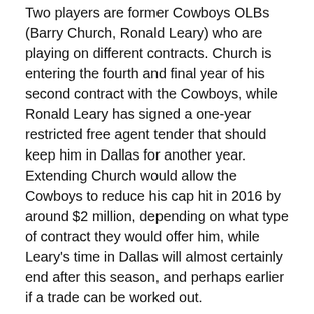Two players are former Cowboys OLBs (Barry Church, Ronald Leary) who are playing on different contracts. Church is entering the fourth and final year of his second contract with the Cowboys, while Ronald Leary has signed a one-year restricted free agent tender that should keep him in Dallas for another year. Extending Church would allow the Cowboys to reduce his cap hit in 2016 by around $2 million, depending on what type of contract they would offer him, while Leary's time in Dallas will almost certainly end after this season, and perhaps earlier if a trade can be worked out.
Three players are exclusive rights free agents
(David Irving, Rod Smith, Deji Olatoye), which means they aren't really free agents at all. An ERFA has no more than two accrued seasons in the NFL and may only sign with his prior team, provided, of course, that